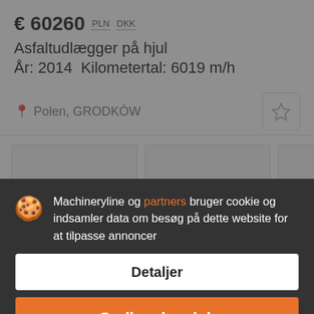€ 60260  PLN  DKK
Asfaltudlægger på hjul
År: 2014  Kilometertal: 6019 m/h
Polen, GRODKÓW
[Figure (screenshot): Three thumbnail image placeholders in a row]
Machineryline og partners bruger cookie og indsamler data om besøg på dette website for at tilpasse annoncer
Detaljer
Godkend og luk